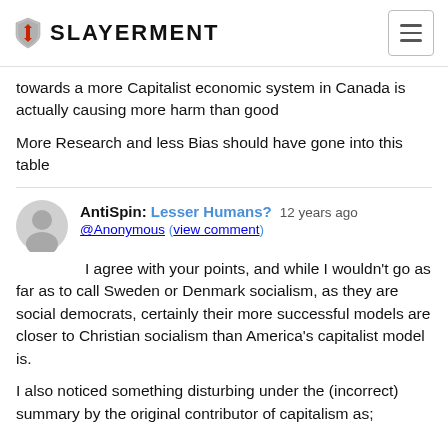Slayerment
towards a more Capitalist economic system in Canada is actually causing more harm than good
More Research and less Bias should have gone into this table
AntiSpin: Lesser Humans? 12 years ago @Anonymous (view comment)
I agree with your points, and while I wouldn't go as far as to call Sweden or Denmark socialism, as they are social democrats, certainly their more successful models are closer to Christian socialism than America's capitalist model is.
I also noticed something disturbing under the (incorrect) summary by the original contributor of capitalism as;